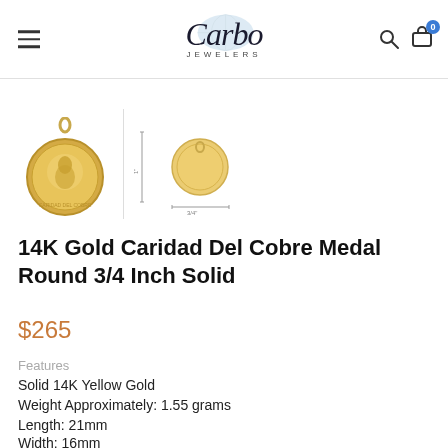Carbo Jewelers
[Figure (photo): Two views of a 14K gold Caridad Del Cobre round medal pendant: one showing the front with religious figure engraving, and one showing a size comparison diagram.]
14K Gold Caridad Del Cobre Medal Round 3/4 Inch Solid
$265
Features
Solid 14K Yellow Gold
Weight Approximately:  1.55 grams
Length: 21mm
Width: 16mm